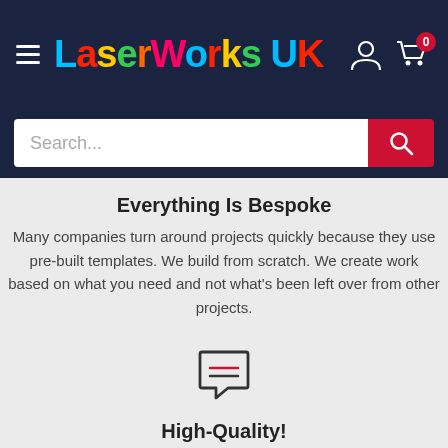LaserWorks UK navigation bar with logo, hamburger menu, user icon, cart icon
Search...
Everything Is Bespoke
Many companies turn around projects quickly because they use pre-built templates. We build from scratch. We create work based on what you need and not what's been left over from other projects.
[Figure (illustration): Chat bubble icon with two horizontal lines inside, outlined in dark color with a red accent line]
High-Quality!
We have in house state-of-the-art CNC Routers and laser engraving machinery, operated by skilled and experienced staff to ensure that your product is cut or engraved with a perfect finish.